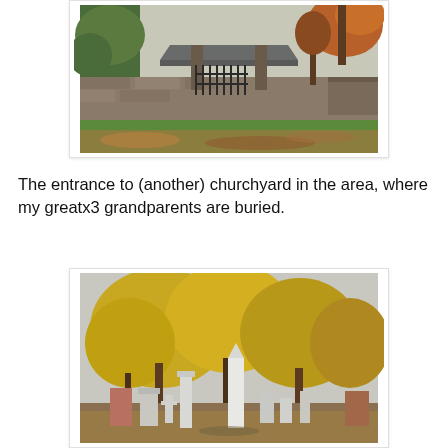[Figure (photo): Entrance gate to a churchyard in autumn. Stone wall with a wooden lychgate roof, iron gate in the center, fallen leaves on the ground, trees with autumn foliage.]
The entrance to (another) churchyard in the area, where my greatx3 grandparents are buried.
[Figure (photo): Cemetery scene with tall yellow/golden autumn trees and white stone grave monuments and obelisks in the foreground.]